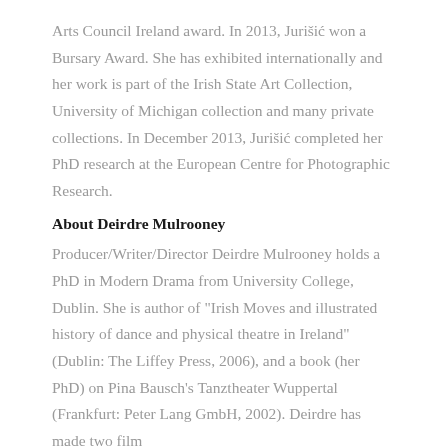Arts Council Ireland award. In 2013, Jurišić won a Bursary Award. She has exhibited internationally and her work is part of the Irish State Art Collection, University of Michigan collection and many private collections. In December 2013, Jurišić completed her PhD research at the European Centre for Photographic Research.
About Deirdre Mulrooney
Producer/Writer/Director Deirdre Mulrooney holds a PhD in Modern Drama from University College, Dublin. She is author of "Irish Moves and illustrated history of dance and physical theatre in Ireland" (Dublin: The Liffey Press, 2006), and a book (her PhD) on Pina Bausch's Tanztheater Wuppertal (Frankfurt: Peter Lang GmbH, 2002). Deirdre has made two film